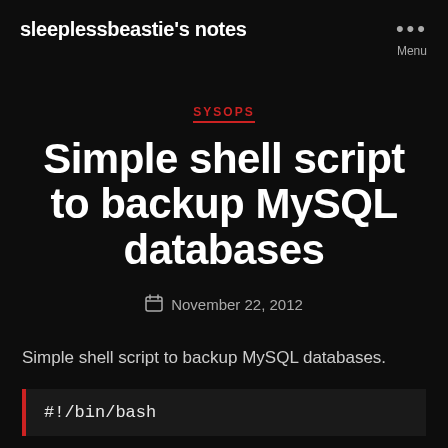sleeplessbeastie's notes
SYSOPS
Simple shell script to backup MySQL databases
November 22, 2012
Simple shell script to backup MySQL databases.
#!/bin/bash